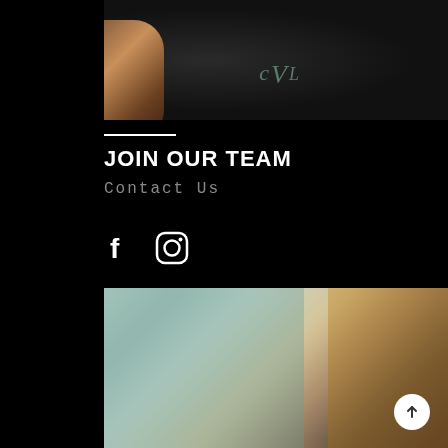[Figure (photo): Close-up photo of a person wearing a dark navy/black t-shirt with CVL logo, arms crossed, dark background]
JOIN OUR TEAM
Contact Us
[Figure (infographic): Social media icons: Facebook (f) and Instagram (camera/circle) in white on black background]
[Figure (photo): Blurred abstract photo with warm golden and cool blue-green tones, appears to show a reflective surface or musical instrument]